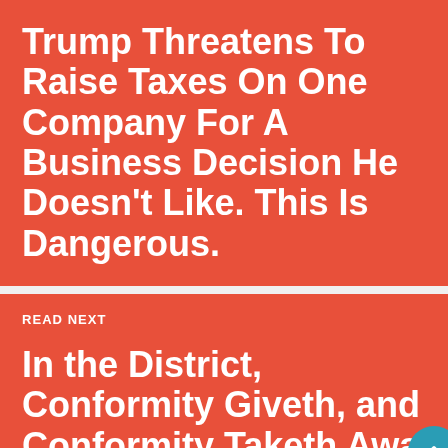Trump Threatens To Raise Taxes On One Company For A Business Decision He Doesn’t Like. This Is Dangerous.
READ NEXT
In the District, Conformity Giveth, and Conformity Taketh Awa…